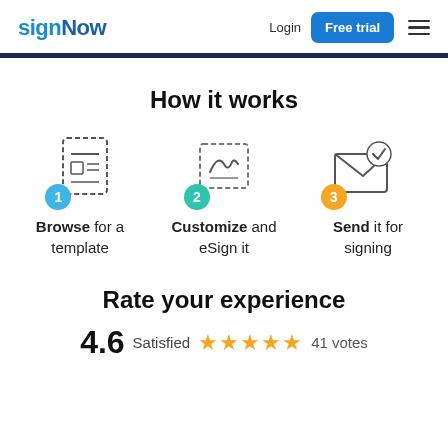signNow — Login — Free trial
How it works
[Figure (infographic): Three-step process icons: 1) document with dashed border and blue circle badge labeled 1, 2) signature on dashed-border box with teal circle badge labeled 2, 3) envelope with checkmark and orange circle badge labeled 3]
Browse for a template
Customize and eSign it
Send it for signing
Rate your experience
4.6  Satisfied  ★★★★★  41 votes